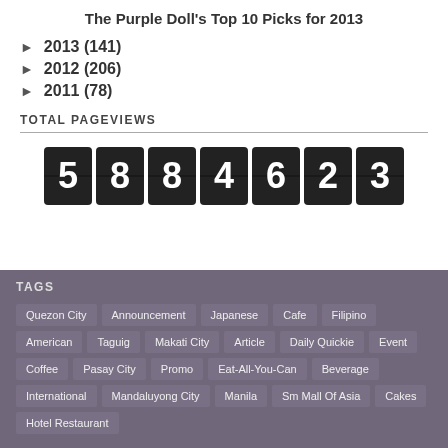The Purple Doll's Top 10 Picks for 2013
► 2013 (141)
► 2012 (206)
► 2011 (78)
TOTAL PAGEVIEWS
[Figure (other): Flip counter showing page view count: 5884623]
TAGS
Quezon City, Announcement, Japanese, Cafe, Filipino, American, Taguig, Makati City, Article, Daily Quickie, Event, Coffee, Pasay City, Promo, Eat-All-You-Can, Beverage, International, Mandaluyong City, Manila, Sm Mall Of Asia, Cakes, Hotel Restaurant